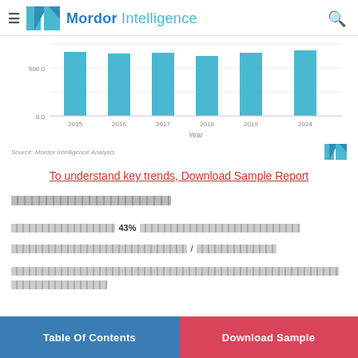Mordor Intelligence
[Figure (bar-chart): Bar chart with years 2015-2024]
Source: Mordor Intelligence Analysis
To understand key trends, Download Sample Report
[redacted text block]
[redacted text] 43% [redacted text]
[redacted text]/[redacted text]
[redacted text block]
[redacted text]
Table Of Contents | Download Sample